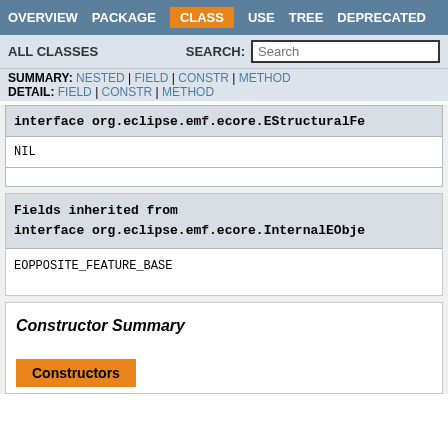OVERVIEW | PACKAGE | CLASS | USE | TREE | DEPRECATED
ALL CLASSES    SEARCH:  [Search]
SUMMARY: NESTED | FIELD | CONSTR | METHOD
DETAIL: FIELD | CONSTR | METHOD
interface org.eclipse.emf.ecore.EStructuralFe
| NIL |
Fields inherited from interface org.eclipse.emf.ecore.InternalEObje
EOPPOSITE_FEATURE_BASE
Constructor Summary
Constructors